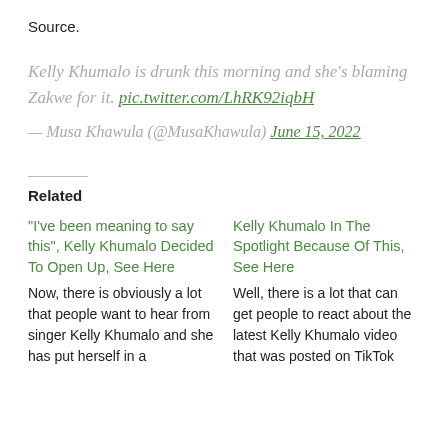Source.
Kelly Khumalo is drunk this morning and she's blaming Zakwe for it. pic.twitter.com/LhRK92iqbH
— Musa Khawula (@MusaKhawula) June 15, 2022
Related
"I've been meaning to say this", Kelly Khumalo Decided To Open Up, See Here
Now, there is obviously a lot that people want to hear from singer Kelly Khumalo and she has put herself in a
Kelly Khumalo In The Spotlight Because Of This, See Here
Well, there is a lot that can get people to react about the latest Kelly Khumalo video that was posted on TikTok